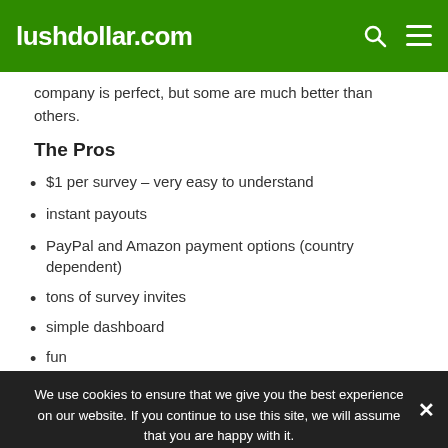lushdollar.com
company is perfect, but some are much better than others.
The Pros
$1 per survey – very easy to understand
instant payouts
PayPal and Amazon payment options (country dependent)
tons of survey invites
simple dashboard
fun
We use cookies to ensure that we give you the best experience on our website. If you continue to use this site, we will assume that you are happy with it.